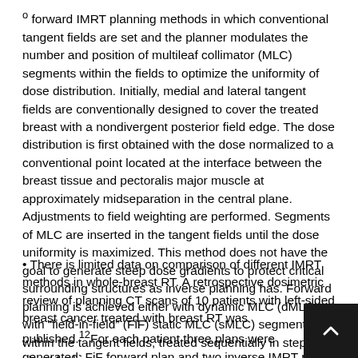° forward IMRT planning methods in which conventional tangent fields are set and the planner modulates the number and position of multileaf collimator (MLC) segments within the fields to optimize the uniformity of dose distribution. Initially, medial and lateral tangent fields are conventionally designed to cover the treated breast with a nondivergent posterior field edge. The dose distribution is first obtained with the dose normalized to a conventional point located at the interface between the breast tissue and pectoralis major muscle at approximately midseparation in the central plane. Adjustments to field weighting are performed. Segments of MLC are inserted in the tangent fields until the dose uniformity is maximized. This method does not have the goal to generate steep dose gradients to protect critical surrounding structures as inverse planning has. Forward planning is achieved either with dynamic MLC (dMLC) or with "field-in-field" (FiF) static MLC (sMLC) segments within the tangent fields, treated sequentially in step and shoot fashion.
• There is limited data on comparison of different IMRT methods in whole-breast RT. A retrospective dosimetric review of planning CT scans of 10 patients with left-sided breast cancer treated with breast RT was published.12For each patient three plans were generated: FiF forward plan and two inverse IMRT plans of five and